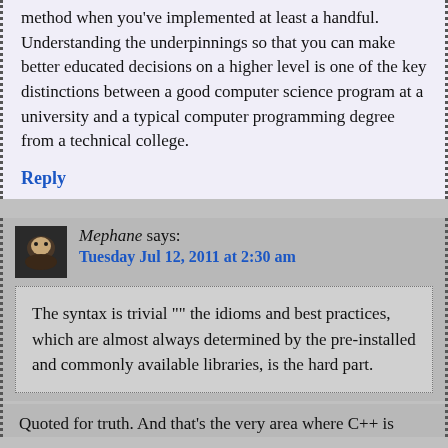method when you've implemented at least a handful. Understanding the underpinnings so that you can make better educated decisions on a higher level is one of the key distinctions between a good computer science program at a university and a typical computer programming degree from a technical college.
Reply
Mephane says:
Tuesday Jul 12, 2011 at 2:30 am
The syntax is trivial "" the idioms and best practices, which are almost always determined by the pre-installed and commonly available libraries, is the hard part.
Quoted for truth. And that's the very area where C++ is